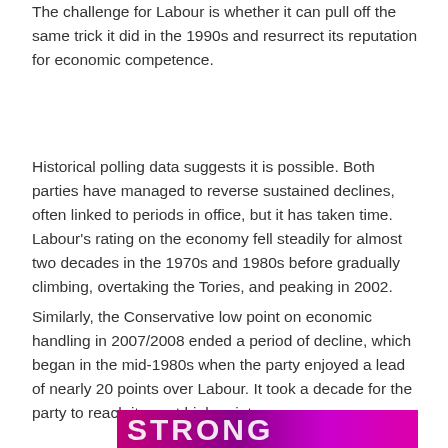The challenge for Labour is whether it can pull off the same trick it did in the 1990s and resurrect its reputation for economic competence.
Historical polling data suggests it is possible. Both parties have managed to reverse sustained declines, often linked to periods in office, but it has taken time. Labour's rating on the economy fell steadily for almost two decades in the 1970s and 1980s before gradually climbing, overtaking the Tories, and peaking in 2002.
Similarly, the Conservative low point on economic handling in 2007/2008 ended a period of decline, which began in the mid-1980s when the party enjoyed a lead of nearly 20 points over Labour. It took a decade for the party to reach its next high point.
[Figure (other): Partial image strip at the bottom of the page showing a colorful purple/magenta graphic, likely a logo or banner, partially cut off]